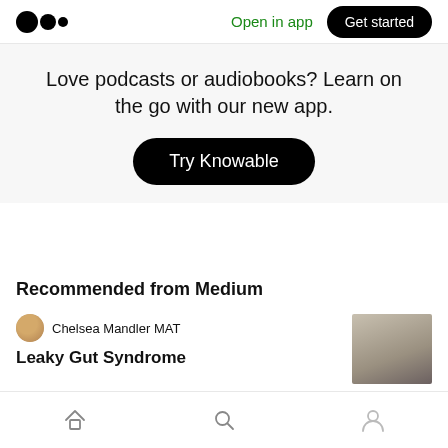Medium logo | Open in app | Get started
Love podcasts or audiobooks? Learn on the go with our new app.
Try Knowable
Recommended from Medium
Chelsea Mandler MAT
Leaky Gut Syndrome
Home | Search | Profile